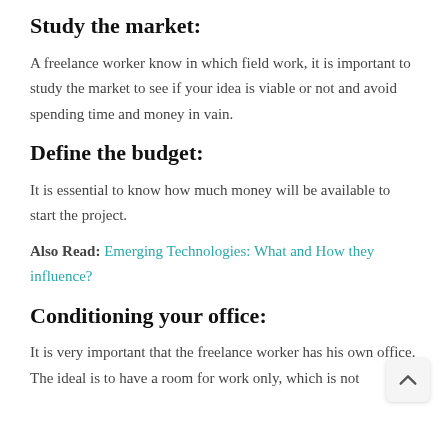Study the market:
A freelance worker know in which field work, it is important to study the market to see if your idea is viable or not and avoid spending time and money in vain.
Define the budget:
It is essential to know how much money will be available to start the project.
Also Read: Emerging Technologies: What and How they influence?
Conditioning your office:
It is very important that the freelance worker has his own office. The ideal is to have a room for work only, which is not